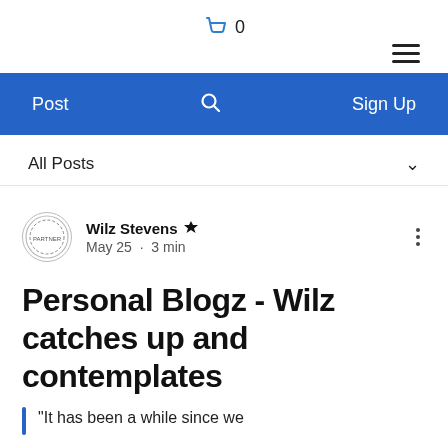🛒 0
[Figure (other): Hamburger menu icon (three horizontal lines)]
[Figure (other): Blue navigation bar with 'Post', search icon, and 'Sign Up']
All Posts ∨
[Figure (other): Author avatar circle with logo]
Wilz Stevens 👑
May 25 · 3 min
Personal Blogz - Wilz catches up and contemplates
"It has been a while since we